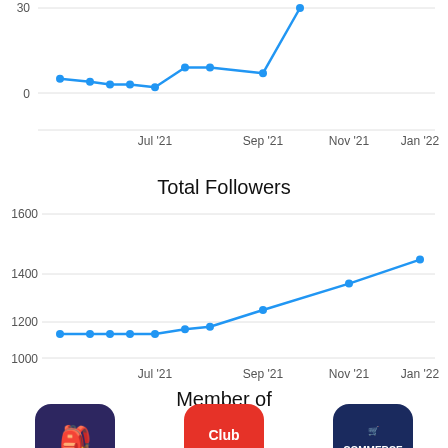[Figure (line-chart): ]
Total Followers
[Figure (line-chart): Total Followers]
Member of
[Figure (illustration): Three rounded square logos: first a dark purple badge with colorful icons, second a red badge with 'Club CPG' text, third a dark navy badge with 'Commerce Club' text and a shopping cart icon.]